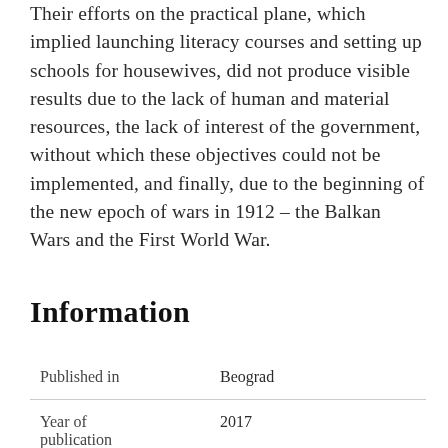Their efforts on the practical plane, which implied launching literacy courses and setting up schools for housewives, did not produce visible results due to the lack of human and material resources, the lack of interest of the government, without which these objectives could not be implemented, and finally, due to the beginning of the new epoch of wars in 1912 – the Balkan Wars and the First World War.
Information
| Published in | Beograd |
| Year of publication | 2017 |
| Author | Ana Stolić |
| Publisher | Istorijski institut Beograd i Muzei |